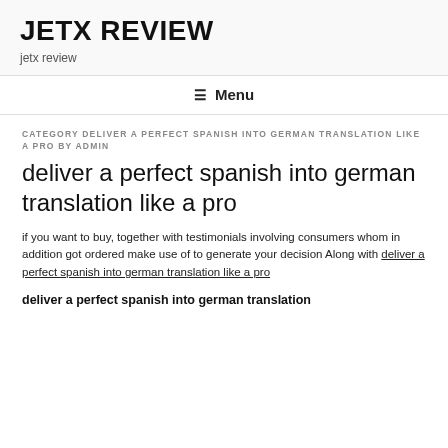JETX REVIEW
jetx review
☰ Menu
CATEGORY DELIVER A PERFECT SPANISH INTO GERMAN TRANSLATION LIKE A PRO BY ADMIN
deliver a perfect spanish into german translation like a pro
if you want to buy, together with testimonials involving consumers whom in addition got ordered make use of to generate your decision Along with deliver a perfect spanish into german translation like a pro
deliver a perfect spanish into german translation